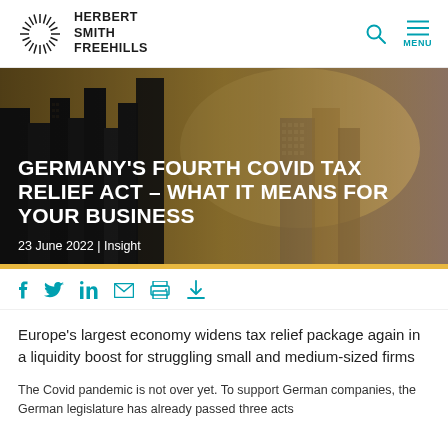HERBERT SMITH FREEHILLS
[Figure (photo): City skyline with tall skyscrapers, golden sunset sky, forms the hero background image for the article]
GERMANY'S FOURTH COVID TAX RELIEF ACT – WHAT IT MEANS FOR YOUR BUSINESS
23 June 2022 | Insight
[Figure (infographic): Social sharing icons row: Facebook, Twitter, LinkedIn, Email, Print, Download]
Europe's largest economy widens tax relief package again in a liquidity boost for struggling small and medium-sized firms
The Covid pandemic is not over yet. To support German companies, the German legislature has already passed three acts